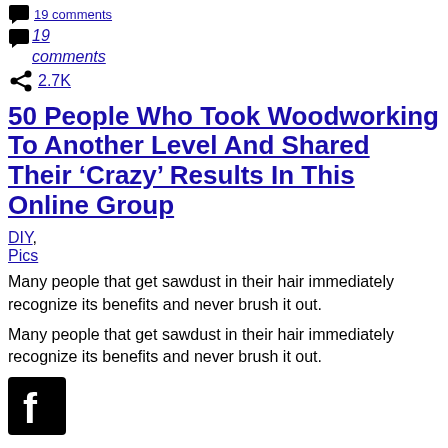19 comments
19
comments
2.7K
50 People Who Took Woodworking To Another Level And Shared Their ‘Crazy’ Results In This Online Group
DIY , Pics
Many people that get sawdust in their hair immediately recognize its benefits and never brush it out.
Many people that get sawdust in their hair immediately recognize its benefits and never brush it out.
[Figure (logo): Facebook logo icon, black square with white f]